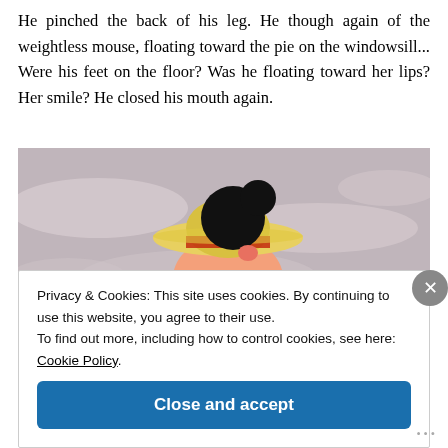He pinched the back of his leg. He though again of the weightless mouse, floating toward the pie on the windowsill... Were his feet on the floor? Was he floating toward her lips? Her smile? He closed his mouth again.
[Figure (illustration): A cartoon image showing a character (resembling Mickey Mouse style) wearing a yellow straw hat, viewed from above/behind, against a muted purple-gray background with light swirling shapes.]
Privacy & Cookies: This site uses cookies. By continuing to use this website, you agree to their use.
To find out more, including how to control cookies, see here: Cookie Policy
Close and accept